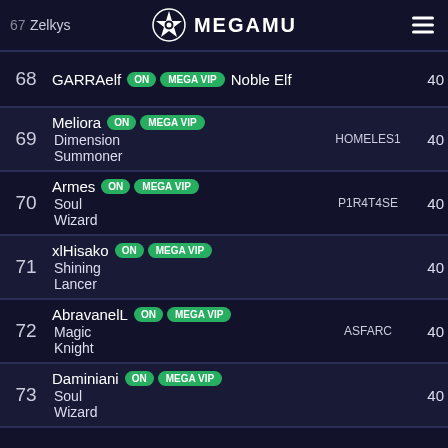MEGAMU
| Rank | Name | Class | Guild | Score |
| --- | --- | --- | --- | --- |
| 67 | Zelkys | (partial) |  | 40x |
| 68 | GARRAelf ON MEGA VIP | Noble Elf |  | 40x |
| 69 | Meliora ON MEGA VIP | Dimension Summoner | HOMELES1 | 40x |
| 70 | Armes ON MEGA VIP | Soul Wizard | P1R4T4SE | 40x |
| 71 | xlHisako ON MEGA VIP | Shining Lancer |  | 40x |
| 72 | AbravanelL ON MEGA VIP | Magic Knight | ASFARC | 40x |
| 73 | Daminiani ON MEGA VIP | Soul Wizard |  | 40x |
| 74 | Clandestine ON MEGA VIP | Noble Elf | RAGEPVP | 40x |
| 75 | Mohameed ON MEGA VIP | ...Empire |  | 40x |